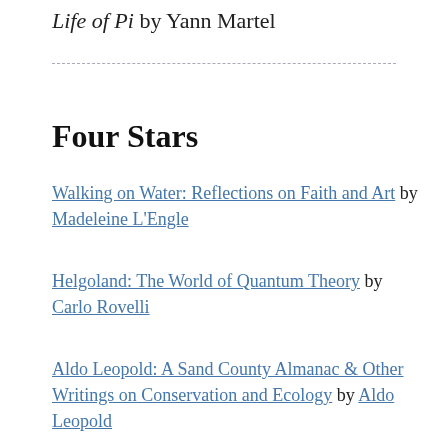Life of Pi by Yann Martel
Four Stars
Walking on Water: Reflections on Faith and Art by Madeleine L'Engle
Helgoland: The World of Quantum Theory by Carlo Rovelli
Aldo Leopold: A Sand County Almanac & Other Writings on Conservation and Ecology by Aldo Leopold